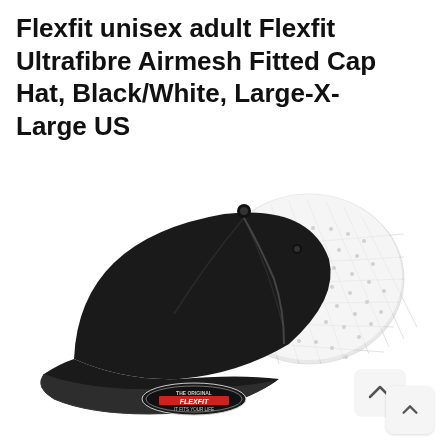Flexfit unisex adult Flexfit Ultrafibre Airmesh Fitted Cap Hat, Black/White, Large-X-Large US
[Figure (photo): Product photo of a Flexfit Ultrafibre Airmesh Fitted Cap Hat in Black/White colorway. The cap has a black structured front panel and a white mesh back panel, with a Flexfit logo tag on the underside of the brim. The hat is shown in a three-quarter front view against a white background.]